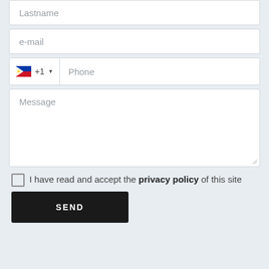Lastname
e-mail
+1  Phone
Message
I have read and accept the privacy policy of this site
SEND